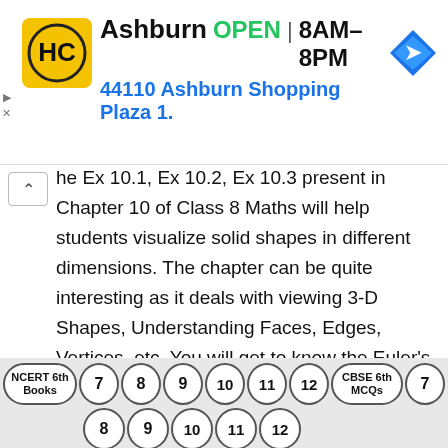[Figure (screenshot): Advertisement banner for Ashburn location showing logo, OPEN status, hours 8AM-8PM, address 44110 Ashburn Shopping Plaza 1., and navigation arrow icon]
he Ex 10.1, Ex 10.2, Ex 10.3 present in Chapter 10 of Class 8 Maths will help students visualize solid shapes in different dimensions. The chapter can be quite interesting as it deals with viewing 3-D Shapes, Understanding Faces, Edges, Vertices, etc. You will get to know the Euler's Formula, which states that F + V – E = 2 in which F is the Faces, E is the Edges, V is the Vertices.
Class 8 Maths Chapter 10 Visualizing Solid Shapes Ex 10.1
[Figure (screenshot): Bottom navigation bar with pill-shaped buttons: NCERT 6th Books, 7, 8, 9, 10, 11, 12, CBSE 6th MCQs, 7, and second row: 8, 9, 10, 11, 12]